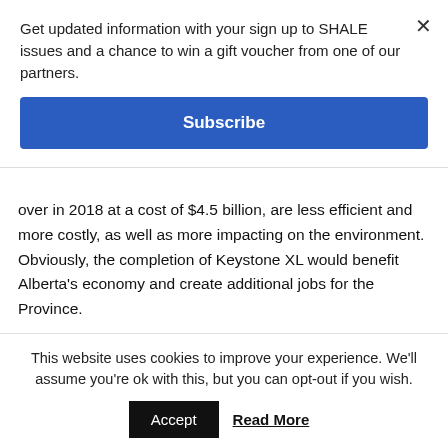Get updated information with your sign up to SHALE issues and a chance to win a gift voucher from one of our partners.
Subscribe
over in 2018 at a cost of $4.5 billion, are less efficient and more costly, as well as more impacting on the environment. Obviously, the completion of Keystone XL would benefit Alberta's economy and create additional jobs for the Province.
Faced with Keystone XL's cancellation, Alberta Premier
This website uses cookies to improve your experience. We'll assume you're ok with this, but you can opt-out if you wish.
Accept
Read More